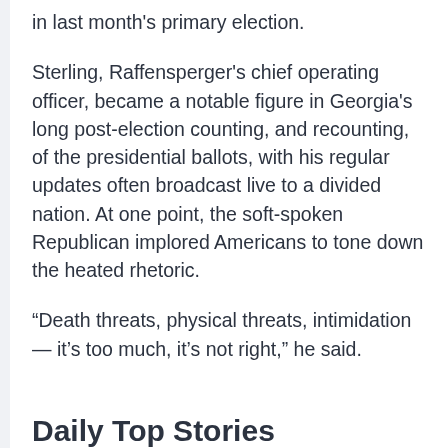in last month's primary election.
Sterling, Raffensperger's chief operating officer, became a notable figure in Georgia's long post-election counting, and recounting, of the presidential ballots, with his regular updates often broadcast live to a divided nation. At one point, the soft-spoken Republican implored Americans to tone down the heated rhetoric.
“Death threats, physical threats, intimidation — it's too much, it's not right,” he said.
Daily Top Stories
Daily